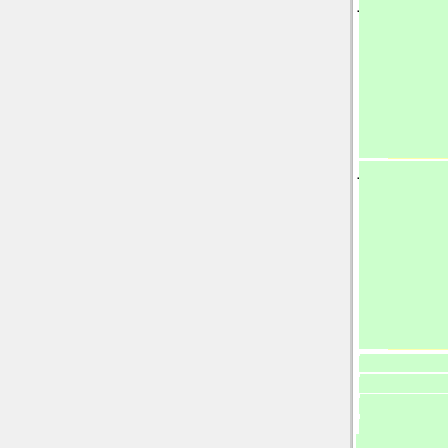[[Image:SUSY(Gen)_MT_4l.jpg|thumb|left|360px|SUSY 4l Transverse mass, generator level]]
[[Image:UED(Gen)_MT_4l.jpg|thumb|center|360px||UED 4l Transverse mass, generator level]]
+ <hr />